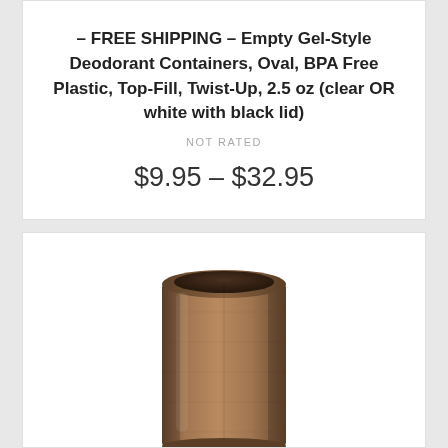– FREE SHIPPING – Empty Gel-Style Deodorant Containers, Oval, BPA Free Plastic, Top-Fill, Twist-Up, 2.5 oz (clear OR white with black lid)
NOT RATED
$9.95 – $32.95
[Figure (photo): A cylindrical kraft paper / cardboard deodorant tube container, viewed from slightly above, showing the open top. The tube is brown/tan colored, appears to be a push-up style container, photographed on a white background.]